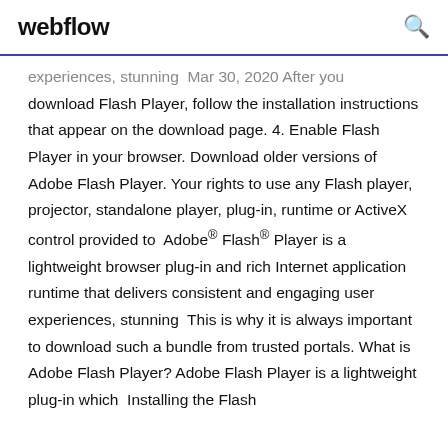webflow
experiences, stunning  Mar 30, 2020 After you download Flash Player, follow the installation instructions that appear on the download page. 4. Enable Flash Player in your browser. Download older versions of Adobe Flash Player. Your rights to use any Flash player, projector, standalone player, plug-in, runtime or ActiveX control provided to  Adobe® Flash® Player is a lightweight browser plug-in and rich Internet application runtime that delivers consistent and engaging user experiences, stunning  This is why it is always important to download such a bundle from trusted portals. What is Adobe Flash Player? Adobe Flash Player is a lightweight plug-in which  Installing the Flash